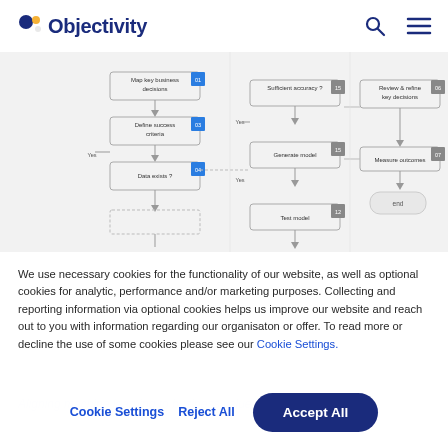Objectivity
[Figure (flowchart): A flowchart showing machine learning / decision process steps including: Map key business decisions, Define success criteria, Data exists?, Sufficient accuracy?, Review & refine key decisions, Generate model, Measure outcomes, Test model, End]
We use necessary cookies for the functionality of our website, as well as optional cookies for analytic, performance and/or marketing purposes. Collecting and reporting information via optional cookies helps us improve our website and reach out to you with information regarding our organisaton or offer. To read more or decline the use of some cookies please see our Cookie Settings.
Cookie Settings   Reject All   Accept All